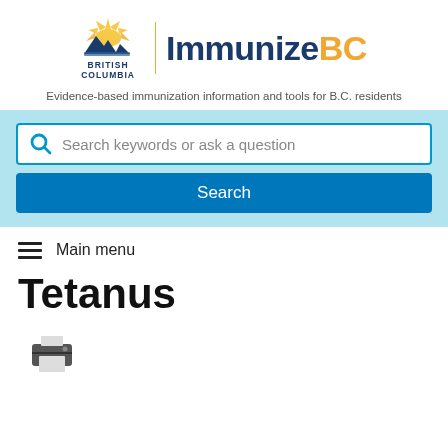[Figure (logo): British Columbia government logo with stylized sun and mountains, beside a vertical gold divider and ImmunizeBC text]
Evidence-based immunization information and tools for B.C. residents
[Figure (screenshot): Search bar with placeholder 'Search keywords or ask a question' and a blue Search button below, on a light blue background]
Main menu
Tetanus
[Figure (illustration): Printer icon (dark grey)]